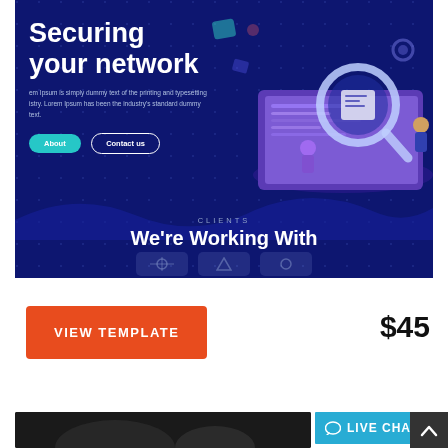[Figure (screenshot): Screenshot of a cybersecurity website template showing a dark blue hero section with 'Securing your network' heading, lorem ipsum subtitle, About and Contact us buttons, and a 3D isometric illustration of a laptop with magnifying glass and figures. A 'CLIENTS - We're Working With' section is visible below with partial client logo placeholders.]
VIEW TEMPLATE
$45
[Figure (screenshot): Bottom partial screenshot showing a dark image preview strip and a teal LIVE CHAT button with chat bubble icon, and a dark scroll-to-top arrow button.]